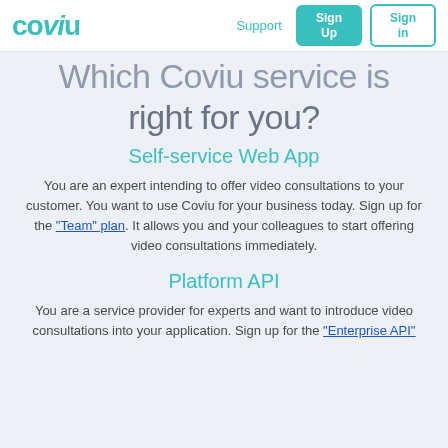Coviu | Support | Sign Up | Sign in
Which Coviu service is right for you?
Self-service Web App
You are an expert intending to offer video consultations to your customer. You want to use Coviu for your business today. Sign up for the "Team" plan. It allows you and your colleagues to start offering video consultations immediately.
Platform API
You are a service provider for experts and want to introduce video consultations into your application. Sign up for the "Enterprise API"